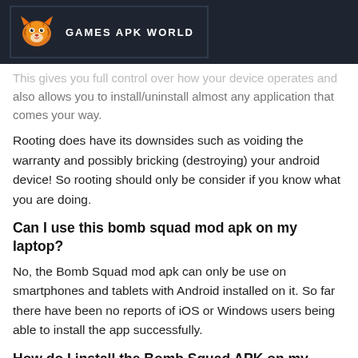GAMES APK WORLD
This gives you full control over how your device operates and also allows you to install/uninstall almost any application that comes your way.
Rooting does have its downsides such as voiding the warranty and possibly bricking (destroying) your android device! So rooting should only be consider if you know what you are doing.
Can I use this bomb squad mod apk on my laptop?
No, the Bomb Squad mod apk can only be use on smartphones and tablets with Android installed on it. So far there have been no reports of iOS or Windows users being able to install the app successfully.
How do I install the Bomb Squad APK on my device?